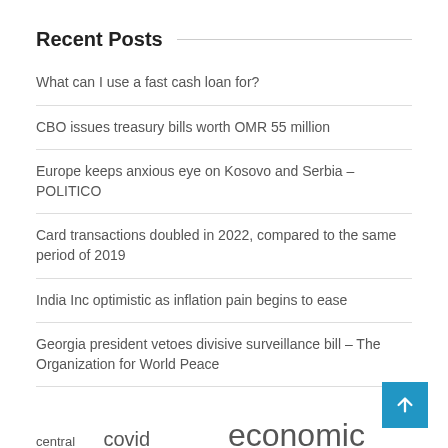Recent Posts
What can I use a fast cash loan for?
CBO issues treasury bills worth OMR 55 million
Europe keeps anxious eye on Kosovo and Serbia – POLITICO
Card transactions doubled in 2022, compared to the same period of 2019
India Inc optimistic as inflation pain begins to ease
Georgia president vetoes divisive surveillance bill – The Organization for World Peace
central bank  covid pandemic  economic area  eu membership  european commission